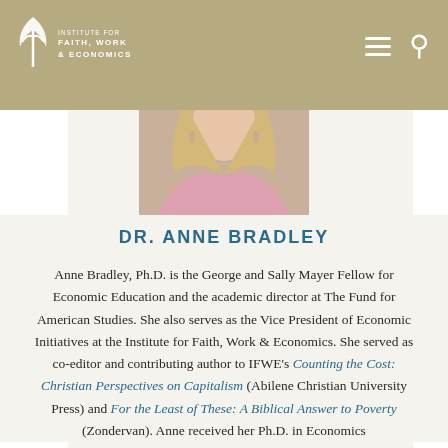Institute for Faith, Work & Economics
[Figure (photo): Headshot photo of Dr. Anne Bradley, a woman with blonde hair wearing a pink jacket]
DR. ANNE BRADLEY
Anne Bradley, Ph.D. is the George and Sally Mayer Fellow for Economic Education and the academic director at The Fund for American Studies. She also serves as the Vice President of Economic Initiatives at the Institute for Faith, Work & Economics. She served as co-editor and contributing author to IFWE's Counting the Cost: Christian Perspectives on Capitalism (Abilene Christian University Press) and For the Least of These: A Biblical Answer to Poverty (Zondervan). Anne received her Ph.D. in Economics